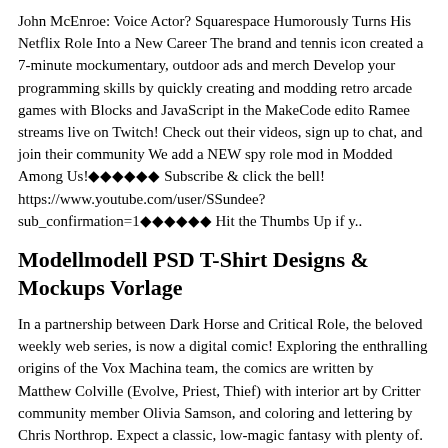John McEnroe: Voice Actor? Squarespace Humorously Turns His Netflix Role Into a New Career The brand and tennis icon created a 7-minute mockumentary, outdoor ads and merch Develop your programming skills by quickly creating and modding retro arcade games with Blocks and JavaScript in the MakeCode edito Ramee streams live on Twitch! Check out their videos, sign up to chat, and join their community We add a NEW spy role mod in Modded Among Us!◆◆◆◆◆◆ Subscribe & click the bell! https://www.youtube.com/user/SSundee?sub_confirmation=1◆◆◆◆◆◆ Hit the Thumbs Up if y..
Modellmodell PSD T-Shirt Designs & Mockups Vorlage
In a partnership between Dark Horse and Critical Role, the beloved weekly web series, is now a digital comic! Exploring the enthralling origins of the Vox Machina team, the comics are written by Matthew Colville (Evolve, Priest, Thief) with interior art by Critter community member Olivia Samson, and coloring and lettering by Chris Northrop. Expect a classic, low-magic fantasy with plenty of. NASA.gov brings you the latest news, images and videos from America's space agency, pioneering the future in space exploration, scientific discovery and aeronautics research
Microsoft Ignite | Microsoft's annual gathering of technology leaders and practitioners delivered as a digital event experience this March Merch giant Fanatics is staffing up in sports betting, snagging key execs and recruiting for new roles. Ashley Rodriguez . 2021-09-02T20:00:44Z The letter F. An envelope. It indicates the ability. Monster is your source for jobs and career